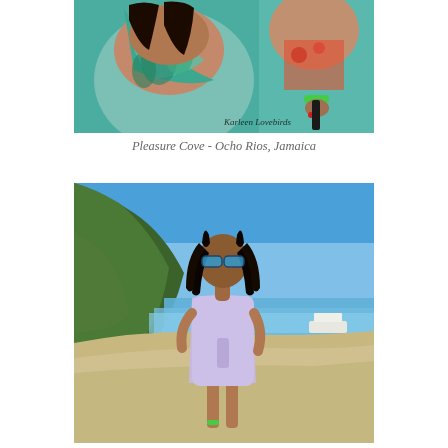[Figure (photo): Close-up photo of two women at the beach, one wearing a green tropical print bikini top, the other in a teal top with a green bracelet. Watermark reads 'Karleen Lovebirds'.]
Pleasure Cove - Ocho Rios, Jamaica
[Figure (photo): Photo of a young girl wearing sunglasses and a lavender/light purple dress standing on a sandy beach with turquoise water and a green hill/cliff in the background. A white boat is visible in the water.]